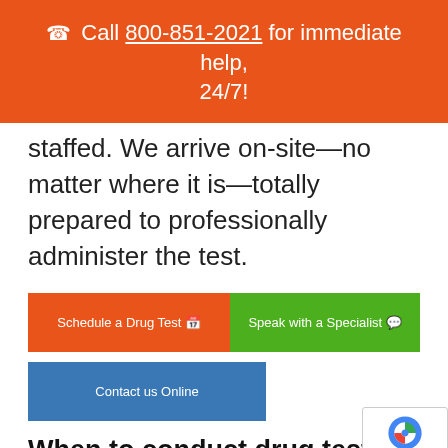☎ Call 800-851-2021 for immediate help, 24/7!
staffed. We arrive on-site—no matter where it is—totally prepared to professionally administer the test.
Schedule a Drug Test 🗓
Speak with a Specialist 💬
Contact us Online
When to conduct drug testing